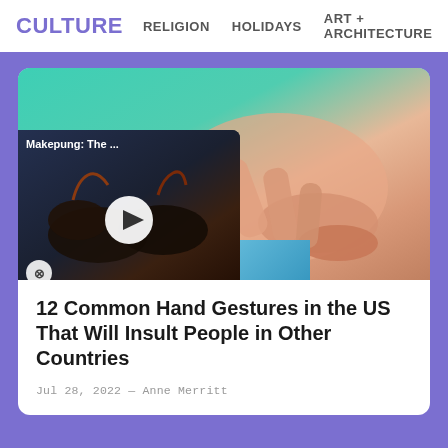CULTURE   RELIGION   HOLIDAYS   ART + ARCHITECTURE
[Figure (photo): Close-up photo of a hand making a gesture against a teal/green fabric background, with fingers crossed or interlocked]
[Figure (screenshot): Video thumbnail showing Makepung: The ... with decorated bulls/buffalo racing, with a play button overlay]
12 Common Hand Gestures in the US That Will Insult People in Other Countries
Jul 28, 2022 — Anne Merritt